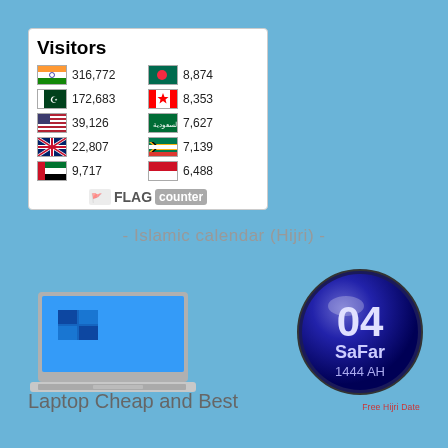| Flag | Count | Flag | Count |
| --- | --- | --- | --- |
| India | 316,772 | Bangladesh | 8,874 |
| Pakistan | 172,683 | Canada | 8,353 |
| USA | 39,126 | Saudi Arabia | 7,627 |
| UK | 22,807 | South Africa | 7,139 |
| UAE | 9,717 | Indonesia | 6,488 |
- Islamic calendar (Hijri) -
[Figure (photo): Laptop computer image]
[Figure (infographic): Islamic calendar badge showing 04 Safar 1444 AH]
Free Hijri Date
Laptop Cheap and Best